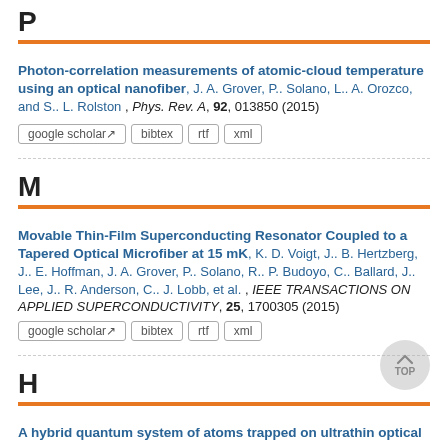P
Photon-correlation measurements of atomic-cloud temperature using an optical nanofiber, J. A. Grover, P.. Solano, L.. A. Orozco, and S.. L. Rolston , Phys. Rev. A, 92, 013850 (2015)
google scholar | bibtex | rtf | xml
M
Movable Thin-Film Superconducting Resonator Coupled to a Tapered Optical Microfiber at 15 mK, K. D. Voigt, J.. B. Hertzberg, J.. E. Hoffman, J. A. Grover, P.. Solano, R.. P. Budoyo, C.. Ballard, J.. Lee, J.. R. Anderson, C.. J. Lobb, et al. , IEEE TRANSACTIONS ON APPLIED SUPERCONDUCTIVITY, 25, 1700305 (2015)
google scholar | bibtex | rtf | xml
H
A hybrid quantum system of atoms trapped on ultrathin optical